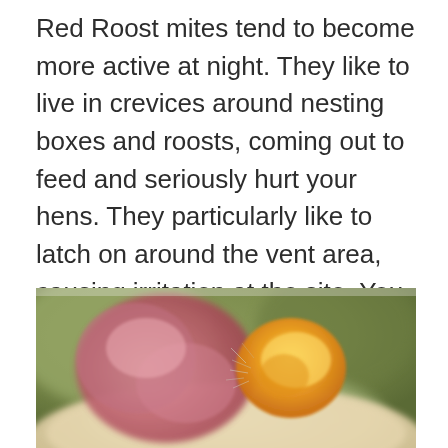Red Roost mites tend to become more active at night. They like to live in crevices around nesting boxes and roosts, coming out to feed and seriously hurt your hens. They particularly like to latch on around the vent area, causing irritation at the site. You might notice dirty feathers around the vent if this is the case.
[Figure (photo): Close-up macro photograph of a chicken's vent area showing reddish irritated skin and an orange/yellow mite or lesion with fine thread-like structures visible, on a pale feathery background with blurred olive-green background.]